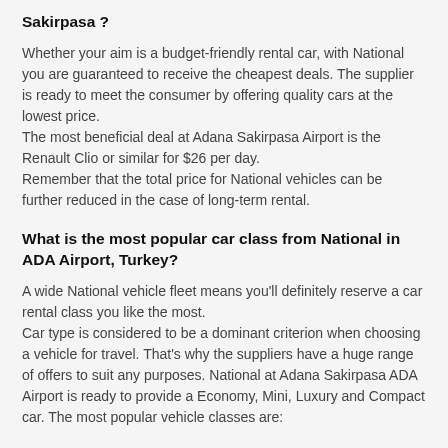Sakirpasa ?
Whether your aim is a budget-friendly rental car, with National you are guaranteed to receive the cheapest deals. The supplier is ready to meet the consumer by offering quality cars at the lowest price.
The most beneficial deal at Adana Sakirpasa Airport is the Renault Clio or similar for $26 per day.
Remember that the total price for National vehicles can be further reduced in the case of long-term rental.
What is the most popular car class from National in ADA Airport, Turkey?
A wide National vehicle fleet means you'll definitely reserve a car rental class you like the most.
Car type is considered to be a dominant criterion when choosing a vehicle for travel. That's why the suppliers have a huge range of offers to suit any purposes. National at Adana Sakirpasa ADA Airport is ready to provide a Economy, Mini, Luxury and Compact car. The most popular vehicle classes are: